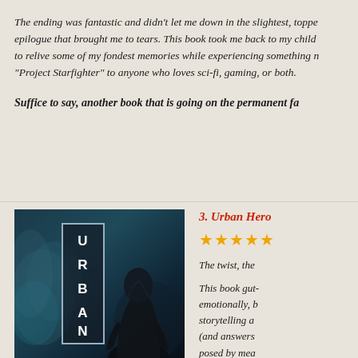The ending was fantastic and didn't let me down in the slightest, topped off with an epilogue that brought me to tears. This book took me back to my childhood, allowing me to relive some of my fondest memories while experiencing something new. I recommend "Project Starfighter" to anyone who loves sci-fi, gaming, or both.
Suffice to say, another book that is going on the permanent fa...
[Figure (illustration): Book cover for 'URBAN' showing a dark atmospheric scene with smoke/mist effects in teal and dark tones, featuring a hooded figure viewed from behind. The title 'URBAN' is displayed vertically in white bold letters within a rectangular border on the left side of the cover.]
3. Urban Hero...
★★★★★
The twist, the...
This book gut-wrenched me emotionally, but the brilliant storytelling and world-building (and answers to questions posed by mea...